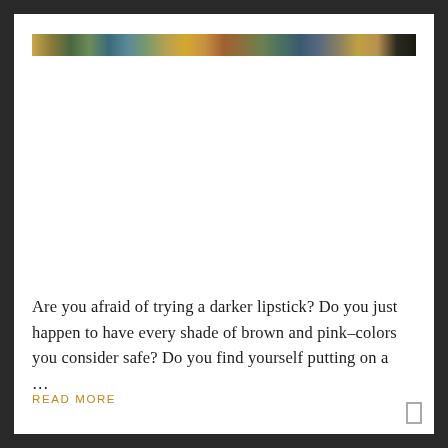[Figure (photo): A narrow horizontal strip of a colorful photo at the top of the card, showing what appears to be people or objects with warm and cool tones.]
Are you afraid of trying a darker lipstick? Do you just happen to have every shade of brown and pink–colors you consider safe? Do you find yourself putting on a …
READ MORE